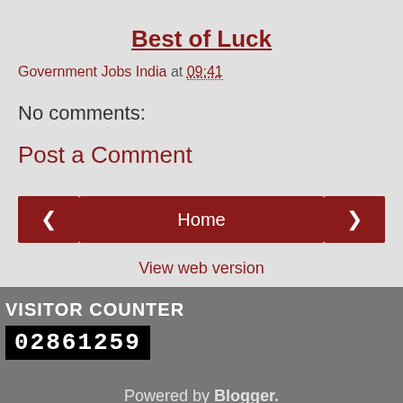Best of Luck
Government Jobs India at 09:41
No comments:
Post a Comment
[Figure (other): Navigation buttons: left arrow, Home, right arrow]
View web version
VISITOR COUNTER
02861259
Powered by Blogger.